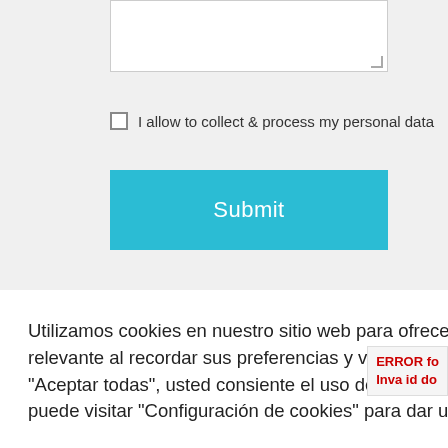[Figure (screenshot): Textarea input field with resize handle in bottom-right corner]
I allow to collect & process my personal data
[Figure (screenshot): Submit button in teal/cyan color]
Utilizamos cookies en nuestro sitio web para ofrecerle la experiencia más relevante al recordar sus preferencias y visitas repetidas. Al hacer clic en "Aceptar todas", usted consiente el uso de TODAS las cookies. Sin embargo, puede visitar "Configuración de cookies" para dar un consentimiento controlado.
[Figure (screenshot): Configuración de cookies button (grey)]
[Figure (screenshot): Aceptar todas button (green)]
ERROR fo
Inva id do